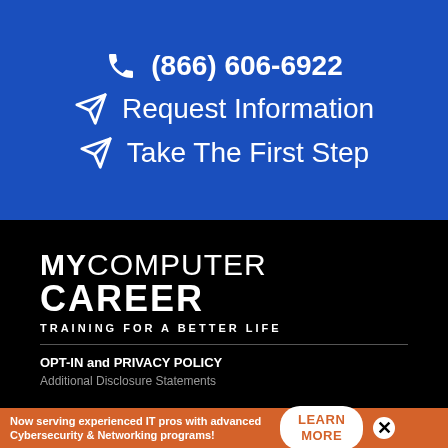(866) 606-6922
Request Information
Take The First Step
[Figure (logo): MYCOMPUTER CAREER TRAINING FOR A BETTER LIFE logo in white text on black background]
OPT-IN and PRIVACY POLICY
Additional Disclosure Statements
Now serving experienced IT pros with advanced Cybersecurity & Networking programs!
LEARN MORE